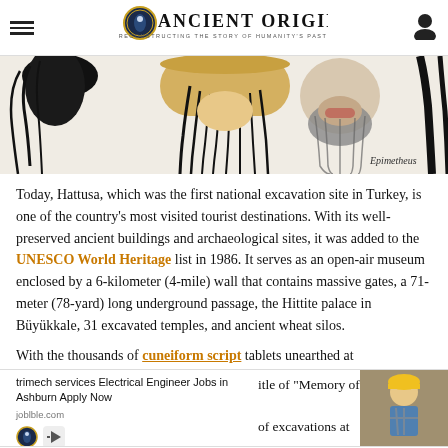Ancient Origins — Reconstructing the Story of Humanity's Past
[Figure (illustration): Illustration of ancient figures (faces/heads) with hair and beards in black and white sketch style, signed 'Epimetheus' in bottom right]
Today, Hattusa, which was the first national excavation site in Turkey, is one of the country's most visited tourist destinations. With its well-preserved ancient buildings and archaeological sites, it was added to the UNESCO World Heritage list in 1986. It serves as an open-air museum enclosed by a 6-kilometer (4-mile) wall that contains massive gates, a 71-meter (78-yard) long underground passage, the Hittite palace in Büyükkale, 31 excavated temples, and ancient wheat silos.
With the thousands of cuneiform script tablets unearthed at
[Figure (screenshot): Advertisement overlay: 'trimech services Electrical Engineer Jobs in Ashburn Apply Now' with image of a construction worker, joblble.com, and media player icons. Also shows partial text: 'title of "Memory of ... of excavations at']
Hattusa, carried out from 1906 to 1912, unearthed 10,000 cuneiform script tablets. Work on these by archaeologist and linguist Bedřich